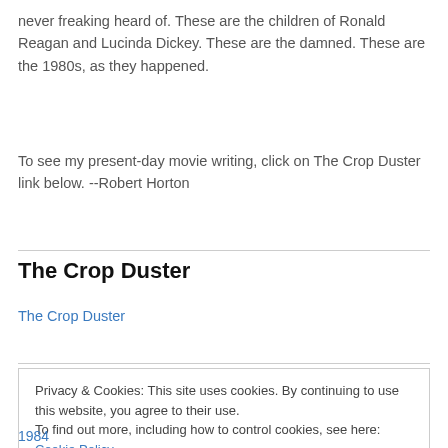never freaking heard of. These are the children of Ronald Reagan and Lucinda Dickey. These are the damned. These are the 1980s, as they happened.
To see my present-day movie writing, click on The Crop Duster link below. --Robert Horton
The Crop Duster
The Crop Duster
Privacy & Cookies: This site uses cookies. By continuing to use this website, you agree to their use.
To find out more, including how to control cookies, see here: Cookie Policy
1984